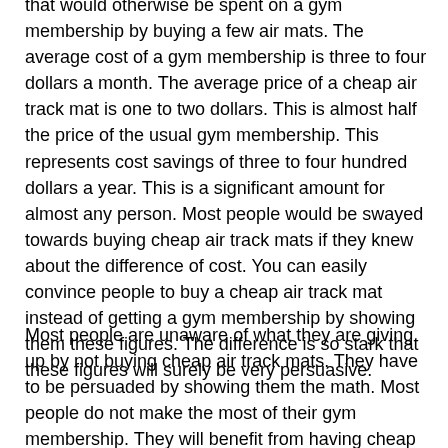that would otherwise be spent on a gym membership by buying a few air mats. The average cost of a gym membership is three to four dollars a month. The average price of a cheap air track mat is one to two dollars. This is almost half the price of the usual gym membership. This represents cost savings of three to four hundred dollars a year. This is a significant amount for almost any person. Most people would be swayed towards buying cheap air track mats if they knew about the difference of cost. You can easily convince people to buy a cheap air track mat instead of getting a gym membership by showing them these figures. The difference is so stark that these figures will surely be very persuasive.
Most people are unaware of what they are giving up by not buying cheap air track mats. They have to be persuaded by showing them the math. Most people do not make the most of their gym membership. They will benefit from having cheap air track mats at home instead. Gym memberships are